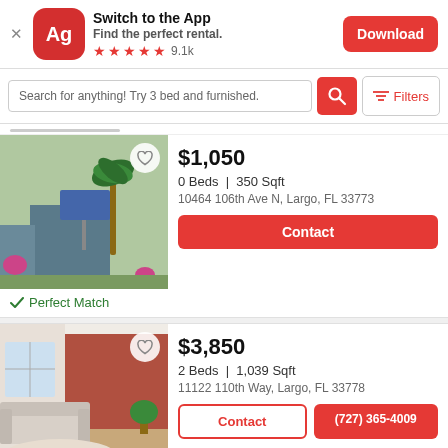[Figure (screenshot): App promotion banner with Apartmentguide (Ag) logo icon, 'Switch to the App', 'Find the perfect rental.', 5 red stars, 9.1k rating, and Download button]
Search for anything! Try 3 bed and furnished.
$1,050
0 Beds | 350 Sqft
10464 106th Ave N, Largo, FL 33773
Contact
✓ Perfect Match
$3,850
2 Beds | 1,039 Sqft
11122 110th Way, Largo, FL 33778
Contact | (727) 365-4009